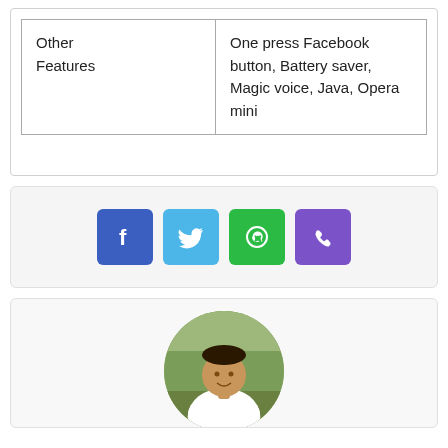| Other Features | One press Facebook button, Battery saver, Magic voice, Java, Opera mini |
[Figure (infographic): Four social media share buttons: Facebook (blue), Twitter (light blue), WhatsApp (green), Phone/Viber (purple)]
[Figure (photo): Circular cropped photo of a man in a white shirt, standing outdoors with trees in the background]